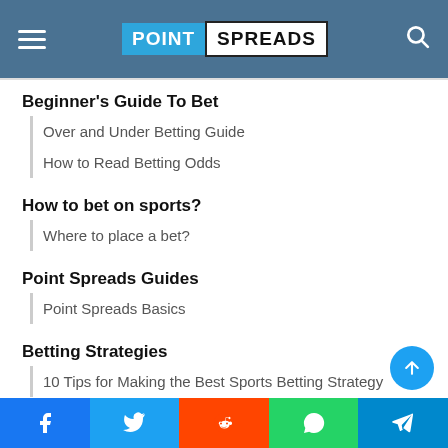POINT SPREADS
Beginner's Guide To Bet
Over and Under Betting Guide
How to Read Betting Odds
How to bet on sports?
Where to place a bet?
Point Spreads Guides
Point Spreads Basics
Betting Strategies
10 Tips for Making the Best Sports Betting Strategy
Betting Bonuses
Sportsbook Bonuses Explained
Facebook Twitter Reddit WhatsApp Telegram